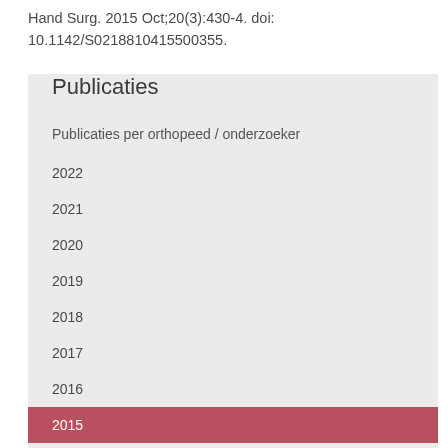Hand Surg. 2015 Oct;20(3):430-4. doi: 10.1142/S0218810415500355.
Publicaties
Publicaties per orthopeed / onderzoeker
2022
2021
2020
2019
2018
2017
2016
2015
2014
2013